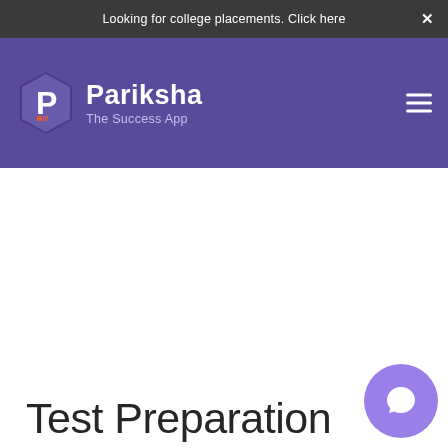Looking for college placements. Click here ×
[Figure (logo): Pariksha - The Success App logo with purple hexagon icon and white text on purple navigation bar]
Test Preparation